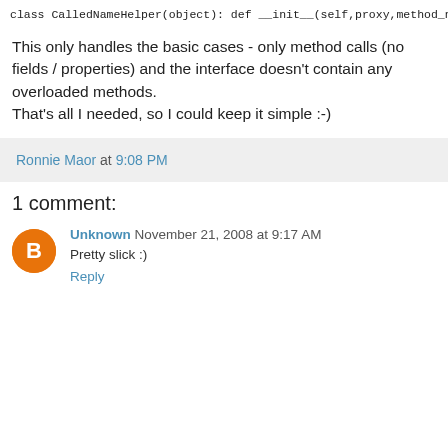[Figure (screenshot): Code block showing Python class CalledNameHelper with __init__ and __call__ methods]
This only handles the basic cases - only method calls (no fields / properties) and the interface doesn't contain any overloaded methods.
That's all I needed, so I could keep it simple :-)
Ronnie Maor at 9:08 PM
1 comment:
Unknown November 21, 2008 at 9:17 AM
Pretty slick :)
Reply